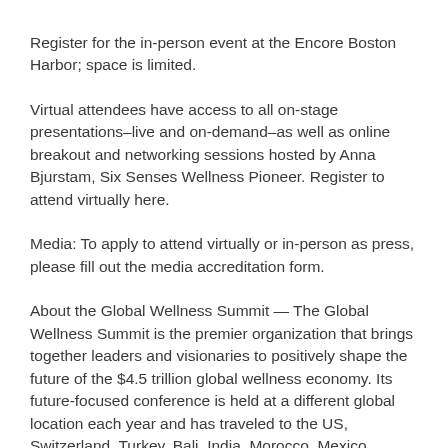Register for the in-person event at the Encore Boston Harbor; space is limited.
Virtual attendees have access to all on-stage presentations–live and on-demand–as well as online breakout and networking sessions hosted by Anna Bjurstam, Six Senses Wellness Pioneer. Register to attend virtually here.
Media: To apply to attend virtually or in-person as press, please fill out the media accreditation form.
About the Global Wellness Summit — The Global Wellness Summit is the premier organization that brings together leaders and visionaries to positively shape the future of the $4.5 trillion global wellness economy. Its future-focused conference is held at a different global location each year and has traveled to the US, Switzerland, Turkey, Bali, India, Morocco, Mexico, Austria, Italy and Singapore. GWS also hosts regular virtual gatherings, including Wellness Master